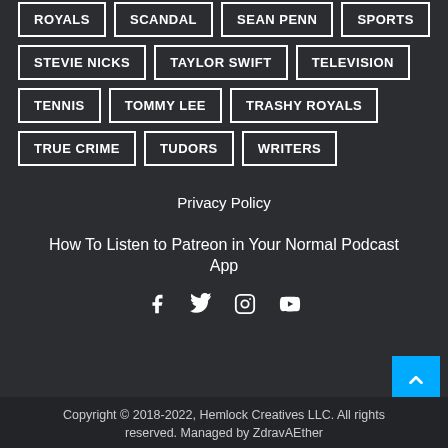ROYALS
SCANDAL
SEAN PENN
SPORTS
STEVIE NICKS
TAYLOR SWIFT
TELEVISION
TENNIS
TOMMY LEE
TRASHY ROYALS
TRUE CRIME
TUDORS
WRITERS
Privacy Policy
How To Listen to Patreon in Your Normal Podcast App
[Figure (infographic): Social media icons: Facebook, Twitter, Instagram, YouTube]
[Figure (infographic): Back to top button - blue square with upward chevron arrow]
Copyright © 2018-2022, Hemlock Creatives LLC. All rights reserved. Managed by ZdravAEther